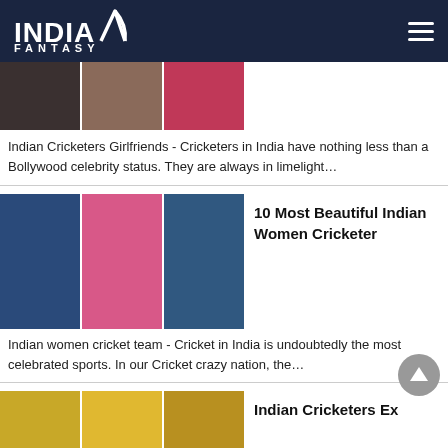INDIA FANTASY
[Figure (photo): Three-panel image strip showing Indian cricketers with their girlfriends]
Indian Cricketers Girlfriends - Cricketers in India have nothing less than a Bollywood celebrity status. They are always in limelight…
[Figure (photo): Three-panel image strip showing Indian women cricketers in blue and pink uniforms]
10 Most Beautiful Indian Women Cricketer
Indian women cricket team - Cricket in India is undoubtedly the most celebrated sports. In our Cricket crazy nation, the…
[Figure (photo): Three-panel image strip showing more Indian cricketers]
Indian Cricketers Ex